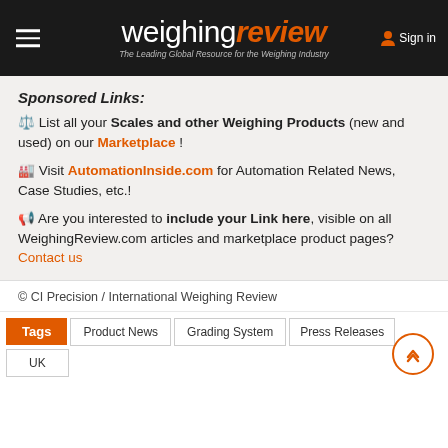weighingreview — The Leading Global Resource for the Weighing Industry — Sign in
Sponsored Links:
⚖ List all your Scales and other Weighing Products (new and used) on our Marketplace !
🏭 Visit AutomationInside.com for Automation Related News, Case Studies, etc.!
📢 Are you interested to include your Link here, visible on all WeighingReview.com articles and marketplace product pages? Contact us
© CI Precision / International Weighing Review
Tags  Product News  Grading System  Press Releases  UK